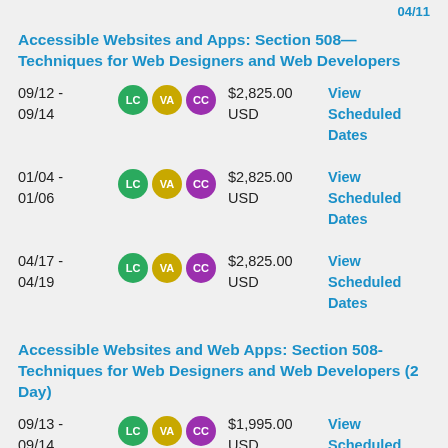Accessible Websites and Apps: Section 508—Techniques for Web Designers and Web Developers
09/12 - 09/14   LC VA CC   $2,825.00 USD   View Scheduled Dates
01/04 - 01/06   LC VA CC   $2,825.00 USD   View Scheduled Dates
04/17 - 04/19   LC VA CC   $2,825.00 USD   View Scheduled Dates
Accessible Websites and Web Apps: Section 508-Techniques for Web Designers and Web Developers (2 Day)
09/13 - 09/14   LC VA CC   $1,995.00 USD   View Scheduled Dates